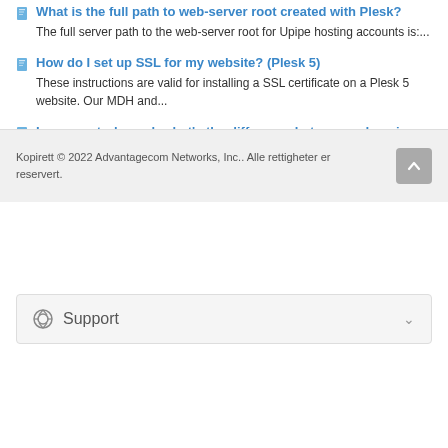What is the full path to web-server root created with Plesk? The full server path to the web-server root for Upipe hosting accounts is:...
How do I set up SSL for my website? (Plesk 5) These instructions are valid for installing a SSL certificate on a Plesk 5 website. Our MDH and...
In my control panel, what's the difference between a domain user and a web user? A domain user allows you to log into the Plesk control panel using the domain name as the user...
Support
Kopirett © 2022 Advantagecom Networks, Inc.. Alle rettigheter er reservert.